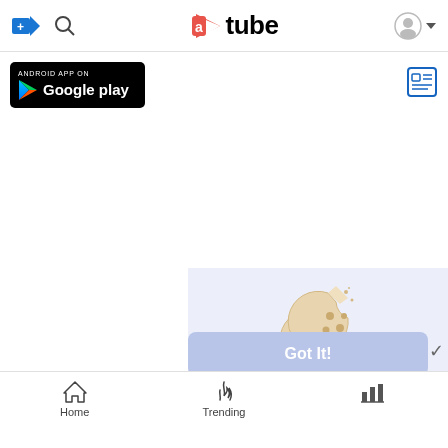aTube navigation header with upload, search, logo, and user icons
[Figure (logo): Android App on Google Play badge - black rounded rectangle with Google Play triangle logo and text]
[Figure (other): News/document icon in blue at top right]
[Figure (illustration): Cookie illustration - two cartoon cookies with chocolate chips, beige/light brown color]
This website uses cookies to ensure you get the best experience on our website. Learn More
[Figure (other): Got It! button - light blue/periwinkle rounded rectangle with white bold text]
Home   Trending   (bar chart icon)